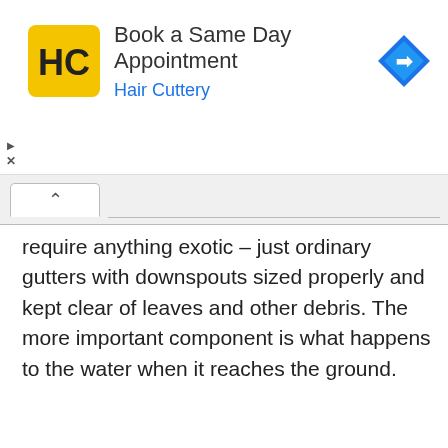[Figure (screenshot): Advertisement banner for Hair Cuttery with HC logo, title 'Book a Same Day Appointment', brand name 'Hair Cuttery' in blue, and a blue navigation/map icon on the right. Ad controls (play and close/X) on the left side.]
require anything exotic – just ordinary gutters with downspouts sized properly and kept clear of leaves and other debris. The more important component is what happens to the water when it reaches the ground.